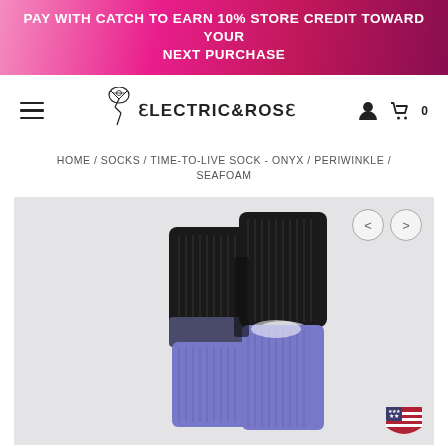PAY WITH CATCH TO EARN 10% STORE CREDIT TOWARD YOUR NEXT PURCHASE
[Figure (logo): Electric & Rose brand logo with decorative lightning bolt and rose graphic]
HOME / SOCKS / TIME-TO-LIVE SOCK - ONYX / PERIWINKLE / SEAFOAM
[Figure (photo): Product photo of tie-dye socks in black, periwinkle and seafoam colors on light gray background]